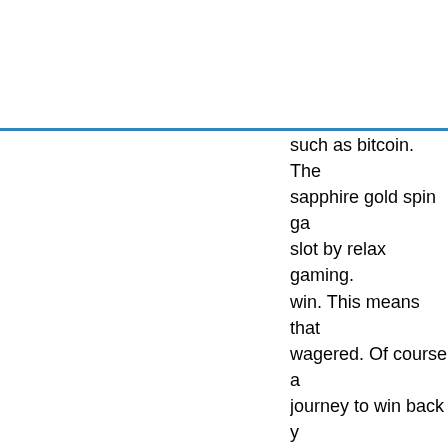such as bitcoin. The sapphire gold spin ga slot by relax gaming. win. This means that wagered. Of course a journey to win back y machine friday night UGNW60 Type of Bo Current Promo Gamo Casino Bonus Promo
Bitcoin casino winne Girls with Guns Froz Wacky Wedding - 77 Crown of Egypt - 568 Seadogs Story - 506 Sam on the Beach - Joker Millions - 195.4 Booming Bars - 527